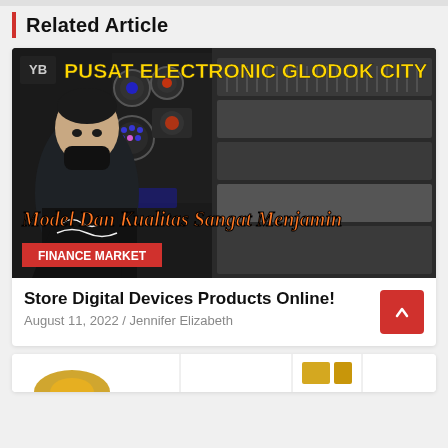Related Article
[Figure (screenshot): Video thumbnail showing a man wearing a black mask in an electronics store filled with mixing consoles, stage lights, and audio equipment. Bold yellow text reads 'PUSAT ELECTRONIC GLODOK CITY' and orange script text reads 'Model Dan Kualitas Sangat Menjamin'. A red label reads 'FINANCE MARKET'.]
Store Digital Devices Products Online!
August 11, 2022 / Jennifer Elizabeth